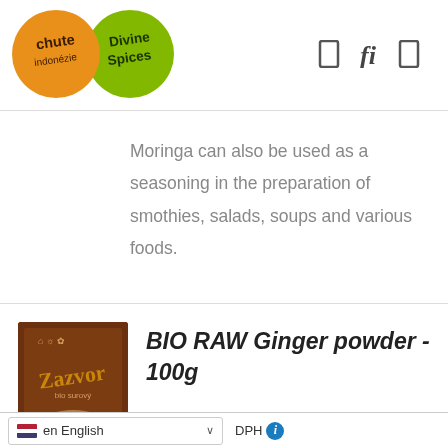[Figure (logo): Chute Indonezie (orange circle) and Divine Spices (green circle) logos side by side, with navigation icons (bookmark, search, cart) on the right]
Moringa can also be used as a seasoning in the preparation of smothies, salads, soups and various foods.
[Figure (photo): BIO RAW Ginger powder product package - brown box with Zazvor label and ginger image]
BIO RAW Ginger powder - 100g
en English  DPH ℹ